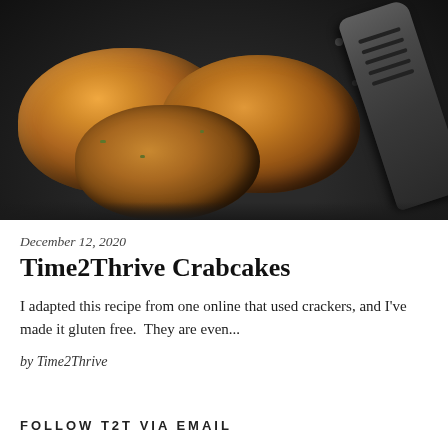[Figure (photo): Crab cakes frying in a dark cast iron skillet, golden-brown with a spatula visible on the right side]
December 12, 2020
Time2Thrive Crabcakes
I adapted this recipe from one online that used crackers, and I've made it gluten free.  They are even...
by Time2Thrive
FOLLOW T2T VIA EMAIL